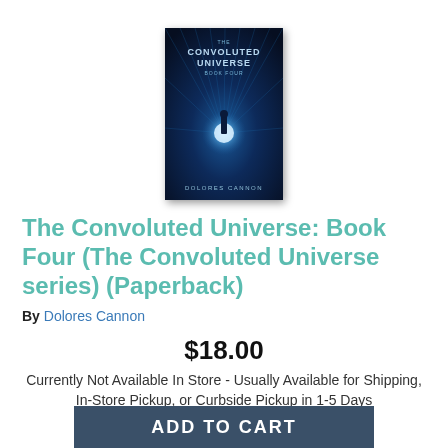[Figure (illustration): Book cover of 'The Convoluted Universe: Book Four' by Dolores Cannon. Dark blue sci-fi cover with rays of light and a silhouetted figure.]
The Convoluted Universe: Book Four (The Convoluted Universe series) (Paperback)
By Dolores Cannon
$18.00
Currently Not Available In Store - Usually Available for Shipping, In-Store Pickup, or Curbside Pickup in 1-5 Days
ADD TO CART